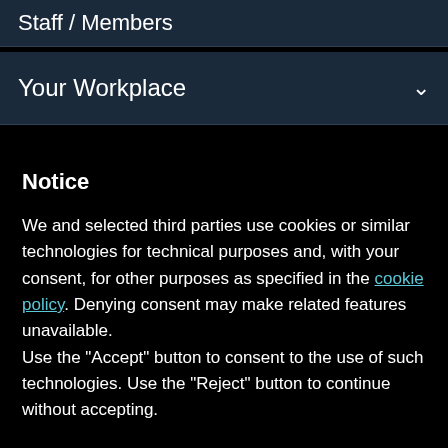Staff / Members
Your Workplace
Notice
We and selected third parties use cookies or similar technologies for technical purposes and, with your consent, for other purposes as specified in the cookie policy. Denying consent may make related features unavailable.
Use the "Accept" button to consent to the use of such technologies. Use the "Reject" button to continue without accepting.
Reject
Accept
Learn more and customize